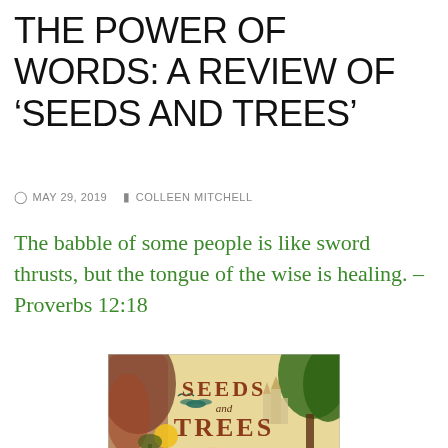THE POWER OF WORDS: A REVIEW OF ‘SEEDS AND TREES’
MAY 29, 2019   COLLEEN MITCHELL
The babble of some people is like sword thrusts, but the tongue of the wise is healing. – Proverbs 12:18
[Figure (illustration): Book cover of 'Seeds and Trees' by Brandon Walden, illustrated by Kristen & Kevin Howdeshell, showing a fairytale forest scene with a child in a red cape, trees, a bird, and a castle in the background]